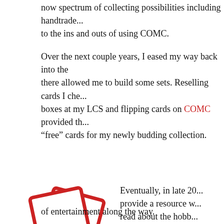now spectrum of collecting possibilities including handtrade... to the ins and outs of using COMC.
Over the next couple years, I eased my way back into the... there allowed me to build some sets. Reselling cards I che... boxes at my LCS and flipping cards on COMC provided th... “free” cards for my newly budding collection.
[Figure (logo): WaxPackHero logo: two overlapping red-outlined playing card shapes above the text 'WaxPackHero' in dark blue cursive script]
Eventually, in late 20... provide a resource w... read about the hobb... lessons I learned alo... transition back into t... then great! And so, W... Over the last year a... documenting my jou... resources, and hope...
of entertainment along the way.